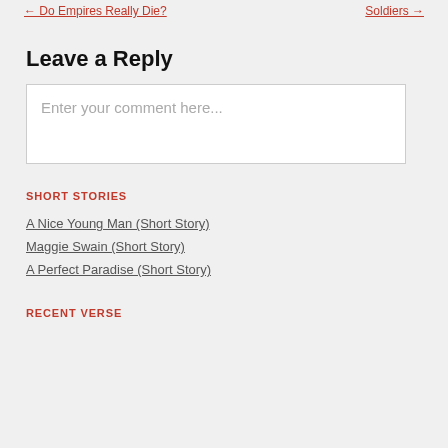← Do Empires Really Die?    Soldiers →
Leave a Reply
Enter your comment here...
SHORT STORIES
A Nice Young Man (Short Story)
Maggie Swain (Short Story)
A Perfect Paradise (Short Story)
RECENT VERSE